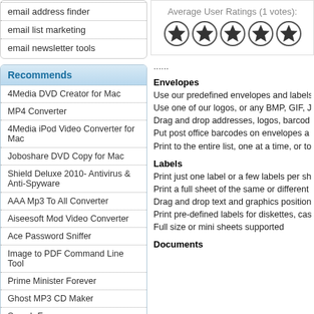email address finder
email list marketing
email newsletter tools
Recommends
4Media DVD Creator for Mac
MP4 Converter
4Media iPod Video Converter for Mac
Joboshare DVD Copy for Mac
Shield Deluxe 2010- Antivirus & Anti-Spyware
AAA Mp3 To All Converter
Aiseesoft Mod Video Converter
Ace Password Sniffer
Image to PDF Command Line Tool
Prime Minister Forever
Ghost MP3 CD Maker
Smash Frenzy
Average User Ratings (1 votes):
[Figure (other): Five star rating icons (all filled stars)]
......
Envelopes
Use our predefined envelopes and labels
Use one of our logos, or any BMP, GIF, J
Drag and drop addresses, logos, barcod
Put post office barcodes on envelopes a
Print to the entire list, one at a time, or to
Labels
Print just one label or a few labels per sh
Print a full sheet of the same or different
Drag and drop text and graphics position
Print pre-defined labels for diskettes, cas
Full size or mini sheets supported
Documents